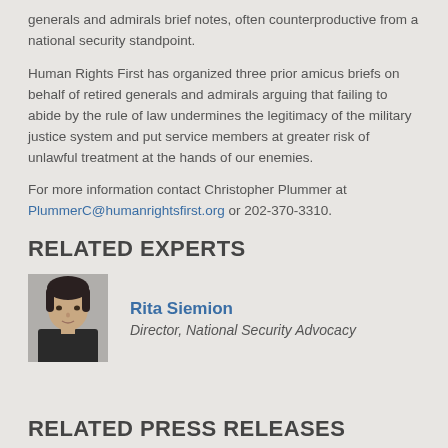generals and admirals brief notes, often counterproductive from a national security standpoint.
Human Rights First has organized three prior amicus briefs on behalf of retired generals and admirals arguing that failing to abide by the rule of law undermines the legitimacy of the military justice system and put service members at greater risk of unlawful treatment at the hands of our enemies.
For more information contact Christopher Plummer at PlummerC@humanrightsfirst.org or 202-370-3310.
RELATED EXPERTS
[Figure (photo): Headshot photo of Rita Siemion, a woman with dark hair wearing a dark jacket]
Rita Siemion
Director, National Security Advocacy
RELATED PRESS RELEASES